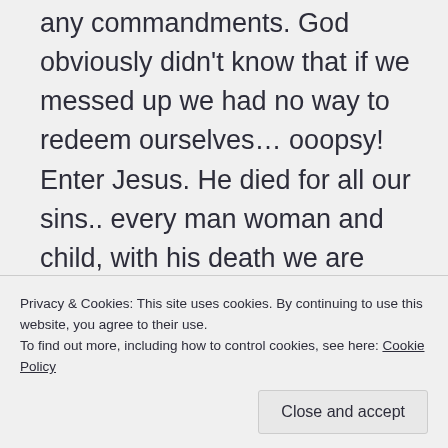any commandments. God obviously didn't know that if we messed up we had no way to redeem ourselves… ooopsy! Enter Jesus. He died for all our sins.. every man woman and child, with his death we are forgiven… done deal, what is the need of worship, and obeying and having an uptight existence for fear of Hell's Damnation when he died, forgiving all my sins, cleaning the
Privacy & Cookies: This site uses cookies. By continuing to use this website, you agree to their use.
To find out more, including how to control cookies, see here: Cookie Policy
Close and accept